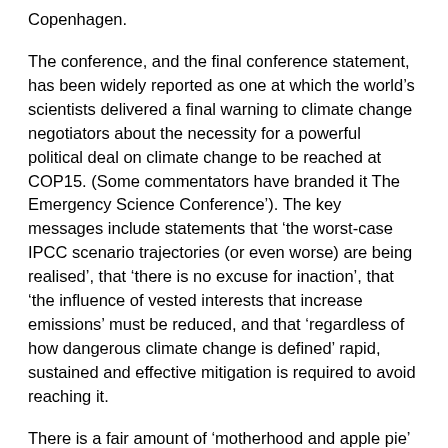Copenhagen.
The conference, and the final conference statement, has been widely reported as one at which the world’s scientists delivered a final warning to climate change negotiators about the necessity for a powerful political deal on climate change to be reached at COP15. (Some commentators have branded it The Emergency Science Conference’). The key messages include statements that ‘the worst-case IPCC scenario trajectories (or even worse) are being realised’, that ‘there is no excuse for inaction’, that ‘the influence of vested interests that increase emissions’ must be reduced, and that ‘regardless of how dangerous climate change is defined’ rapid, sustained and effective mitigation is required to avoid reaching it.
There is a fair amount of ‘motherhood and apple pie’ involved in the 600 word statement – who could disagree, for example, that climate risks are felt unevenly across the world or that we need sustainable jobs. But there are two aspects of this statement which are noteworthy and on which I would like to reflect: ‘Whose views does the statement represent?’